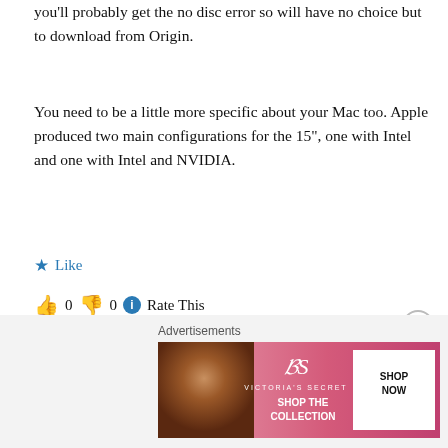you'll probably get the no disc error so will have no choice but to download from Origin.
You need to be a little more specific about your Mac too. Apple produced two main configurations for the 15", one with Intel and one with Intel and NVIDIA.
★ Like
👍 0 👎 0 ℹ Rate This
REPLY
SarahC says:
December 17, 2016 at 9:15 pm
I'm currently running the Sierra, but my graphics are this: NVIDIA
Advertisements
[Figure (other): Victoria's Secret advertisement banner with woman photo, VS logo, 'SHOP THE COLLECTION' text, and 'SHOP NOW' button]